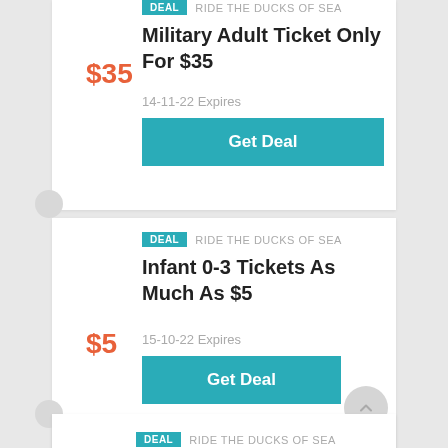DEAL  RIDE THE DUCKS OF SEA
Military Adult Ticket Only For $35
$35
14-11-22 Expires
Get Deal
DEAL  RIDE THE DUCKS OF SEA
Infant 0-3 Tickets As Much As $5
$5
15-10-22 Expires
Get Deal
DEAL  RIDE THE DUCKS OF SEA